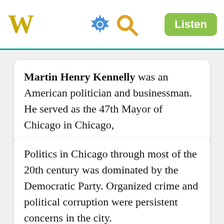W  [settings icon] [search icon]  Listen
Martin Henry Kennelly was an American politician and businessman. He served as the 47th Mayor of Chicago in Chicago,
Politics in Chicago through most of the 20th century was dominated by the Democratic Party. Organized crime and political corruption were persistent concerns in the city.